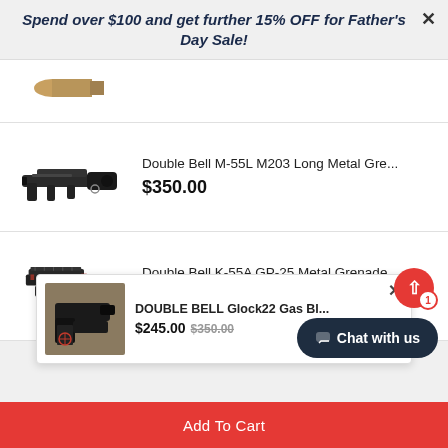Spend over $100 and get further 15% OFF for Father's Day Sale!
[Figure (photo): Partial view of a bullet/gun product image at top]
[Figure (photo): Double Bell M-55L M203 Long Metal Grenade Launcher product image]
Double Bell M-55L M203 Long Metal Gre...
$350.00
[Figure (photo): Double Bell K-55A GP-25 Metal Grenade Launcher product image]
Double Bell K-55A GP-25 Metal Grenade ...
$520.00
[Figure (photo): DOUBLE BELL Glock22 Gas Blowback pistol product image with popup notification]
DOUBLE BELL Glock22 Gas Bl...
$245.00 $350.00
Chat with us
Add To Cart